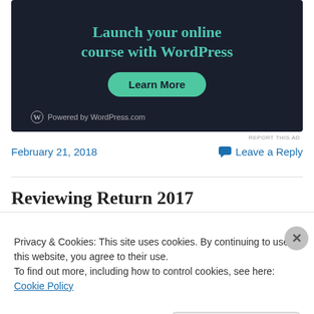[Figure (advertisement): Dark-themed WordPress advertisement: 'Launch your online course with WordPress' with a 'Learn More' button and 'Powered by WordPress.com' footer logo.]
REPORT THIS AD
February 21, 2018
Leave a Reply
Reviewing Return 2017
Privacy & Cookies: This site uses cookies. By continuing to use this website, you agree to their use.
To find out more, including how to control cookies, see here: Cookie Policy
Close and accept